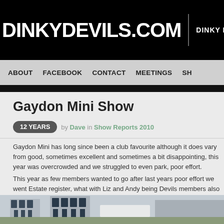DINKYDEVILS.COM | DINKY DEVILS MINI CA
ABOUT   FACEBOOK   CONTACT   MEETINGS   SH
Gaydon Mini Show
12 YEARS  by Dave in Show Reports 2010
Gaydon Mini has long since been a club favourite although it does vary from good, sometimes excellent and sometimes a bit disappointing, this year was overcrowded and we struggled to even park, poor effort.
This year as few members wanted to go after last years poor effort we went Estate register, what with Liz and Andy being Devils members also I thought adventure also……. 🙂
[Figure (photo): Bottom strip showing a building exterior with Dutch-style architecture against a light sky]